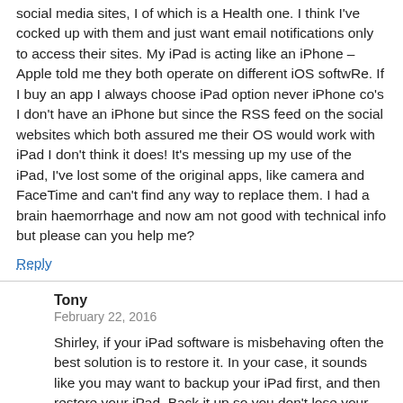social media sites, I of which is a Health one. I think I've cocked up with them and just want email notifications only to access their sites. My iPad is acting like an iPhone – Apple told me they both operate on different iOS softwRe. If I buy an app I always choose iPad option never iPhone co's I don't have an iPhone but since the RSS feed on the social websites which both assured me their OS would work with iPad I don't think it does! It's messing up my use of the iPad, I've lost some of the original apps, like camera and FaceTime and can't find any way to replace them. I had a brain haemorrhage and now am not good with technical info but please can you help me?
Reply
Tony
February 22, 2016
Shirley, if your iPad software is misbehaving often the best solution is to restore it. In your case, it sounds like you may want to backup your iPad first, and then restore your iPad. Back it up so you don't lose your stuff. If something is messed up with iOS, a restore often can fix it. You should contact Apple to walk you through the process if you aren't savvy enough to do it on your own,